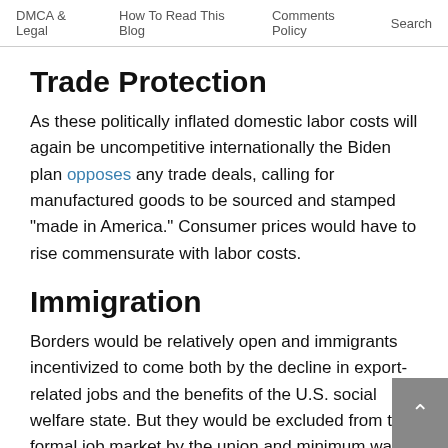DMCA & Legal   How To Read This Blog   Comments Policy   Search
Trade Protection
As these politically inflated domestic labor costs will again be uncompetitive internationally the Biden plan opposes any trade deals, calling for manufactured goods to be sourced and stamped “made in America.” Consumer prices would have to rise commensurate with labor costs.
Immigration
Borders would be relatively open and immigrants incentivized to come both by the decline in export-related jobs and the benefits of the U.S. social welfare state. But they would be excluded from the formal job market by the union and minimum wage